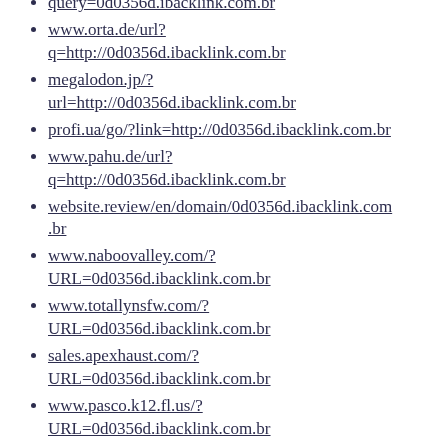query=0d0356d.ibacklink.com.br
www.orta.de/url?q=http://0d0356d.ibacklink.com.br
megalodon.jp/?url=http://0d0356d.ibacklink.com.br
profi.ua/go/?link=http://0d0356d.ibacklink.com.br
www.pahu.de/url?q=http://0d0356d.ibacklink.com.br
website.review/en/domain/0d0356d.ibacklink.com.br
www.naboovalley.com/?URL=0d0356d.ibacklink.com.br
www.totallynsfw.com/?URL=0d0356d.ibacklink.com.br
sales.apexhaust.com/?URL=0d0356d.ibacklink.com.br
www.pasco.k12.fl.us/?URL=0d0356d.ibacklink.com.br
anybeats.jp/jump/?http://0d0356d.ibacklink.com.br